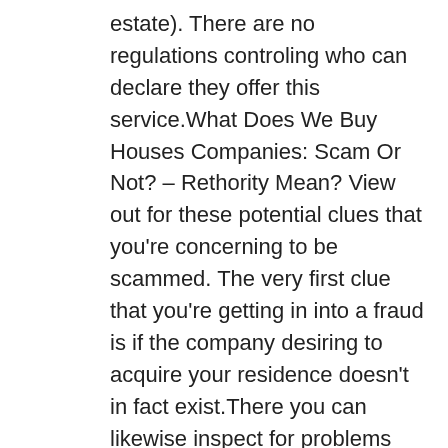estate). There are no regulations controling who can declare they offer this service.What Does We Buy Houses Companies: Scam Or Not? – Rethority Mean? View out for these potential clues that you're concerning to be scammed. The very first clue that you're getting in into a fraud is if the company desiring to acquire your residence doesn't in fact exist.There you can likewise inspect for problems and see if somebody has actually detailed them as a scam formerly. Your last line of defense is to look up previous customer evaluates online. See what others are claiming. Is it great? Do the evaluations look genuine? The more details you can locate on a business the much more likely you'll be to prevent we acquire homes rip-offs.Little Known Facts About Consumer Alert: Attorney General Shapiro Warns ….A proper investor won't desire to use you money for a building they recognize absolutely nothing around. There's no means they can fairly examine your home